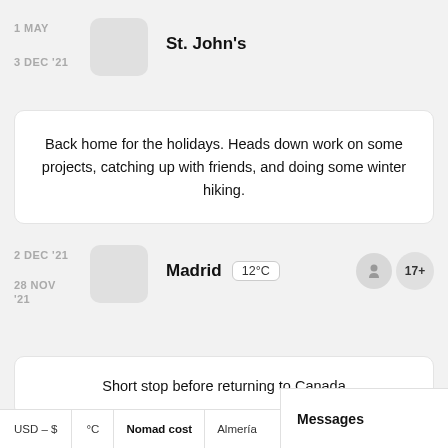1 MAY
3 DEC '21
St. John's
Back home for the holidays. Heads down work on some projects, catching up with friends, and doing some winter hiking.
2 DEC '21
28 NOV '21
Madrid
12°C
17+
Short stop before returning to Canada
USD – $
°C
Nomad cost
Almería
Messages